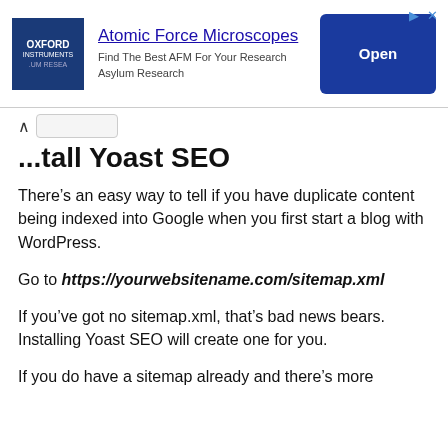[Figure (screenshot): Oxford Instruments advertisement banner for Atomic Force Microscopes with logo, title, description, and Open button]
...tall Yoast SEO
There’s an easy way to tell if you have duplicate content being indexed into Google when you first start a blog with WordPress.
Go to https://yourwebsitename.com/sitemap.xml
If you’ve got no sitemap.xml, that’s bad news bears. Installing Yoast SEO will create one for you.
If you do have a sitemap already and there’s more